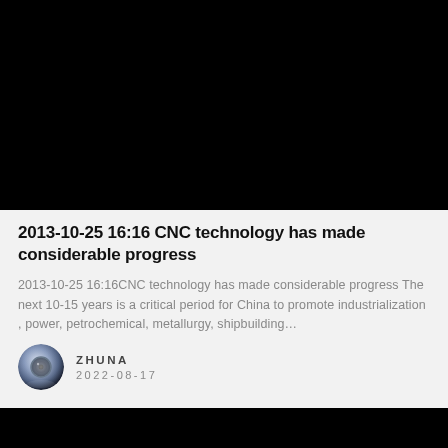[Figure (photo): Large black rectangular image area at the top of the page]
2013-10-25 16:16 CNC technology has made considerable progress
2013-10-25 16:16CNC technology has made considerable progress The next 10-15 years is a critical period for China to promote industrialization , power, petrochemical, metallurgy, shipbuilding…
ZHUNA
2022-08-17
[Figure (photo): Partial black rectangular image area at the bottom of the page]